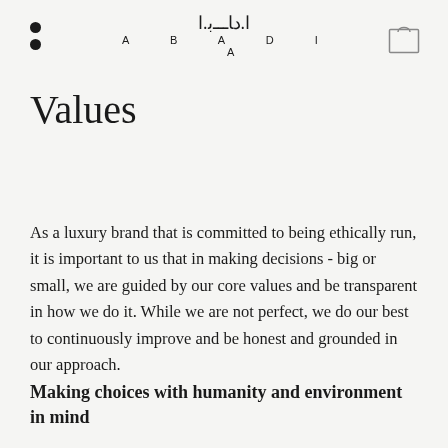ABADIA
Values
As a luxury brand that is committed to being ethically run, it is important to us that in making decisions - big or small, we are guided by our core values and be transparent in how we do it. While we are not perfect, we do our best to continuously improve and be honest and grounded in our approach.
Making choices with humanity and environment in mind